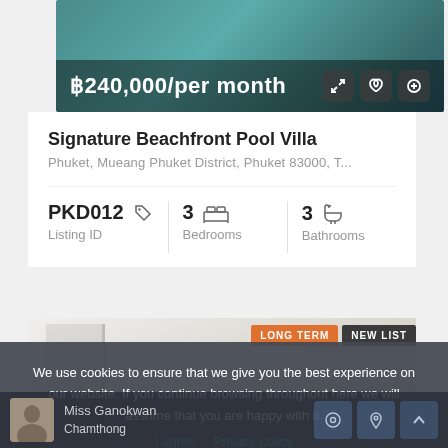[Figure (photo): Aerial/pool view of beachfront villa property with teal water, with price overlay showing ฿240,000/per month and action icons]
Signature Beachfront Pool Villa
Phuket, Mueang Phuket District, Phuket 83000, T...
PKD012  Listing ID | 3 Bedrooms | 3 Bathrooms
[Figure (photo): Interior room photo of the villa with LONG TERM and NEW LIST badges]
We use cookies to ensure that we give you the best experience on our website. If you continue browsing throughout here we will assume that you are happy with it.
I agree  Privacy policy
Miss Ganokwan Chamthong